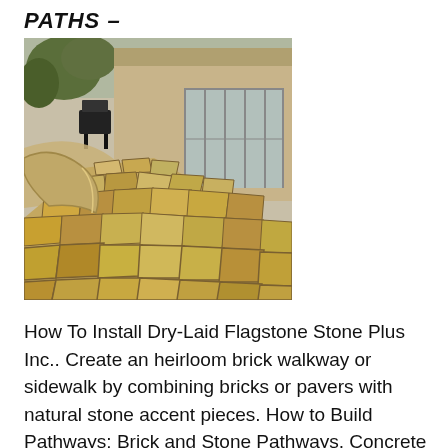PATHS -
[Figure (photo): Outdoor flagstone patio and curved pathway leading to a house with glass doors, surrounded by trees and landscaping. The pathway is made of irregular flat stone pieces in tan and brown tones.]
How To Install Dry-Laid Flagstone Stone Plus Inc.. Create an heirloom brick walkway or sidewalk by combining bricks or pavers with natural stone accent pieces. How to Build Pathways: Brick and Stone Pathways, Concrete